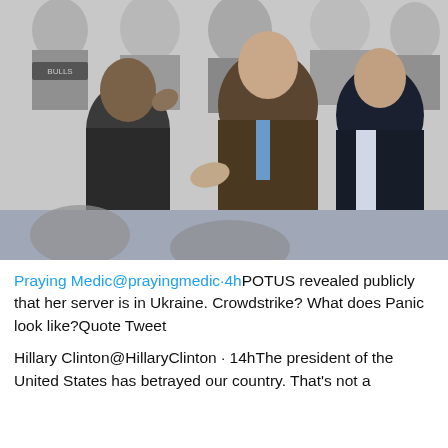[Figure (photo): Black and white photo of three men at a sports event. The man on the left is laughing and saluting, the man in the middle is smiling and reaching out his hand, and the man on the right is watching.]
Praying Medic@prayingmedic·4hPOTUS revealed publicly that her server is in Ukraine. Crowdstrike? What does Panic look like?Quote Tweet
Hillary Clinton@HillaryClinton · 14hThe president of the United States has betrayed our country. That's not a